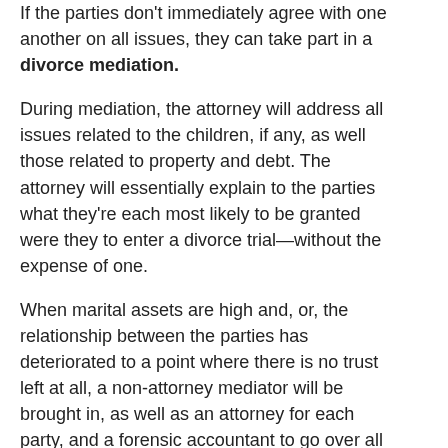If the parties don't immediately agree with one another on all issues, they can take part in a divorce mediation.
During mediation, the attorney will address all issues related to the children, if any, as well those related to property and debt. The attorney will essentially explain to the parties what they're each most likely to be granted were they to enter a divorce trial—without the expense of one.
When marital assets are high and, or, the relationship between the parties has deteriorated to a point where there is no trust left at all, a non-attorney mediator will be brought in, as well as an attorney for each party, and a forensic accountant to go over all assets and find some that might have been hidden by either party to the divorce. Sometimes, even a child psychologist will join the group to give advice on the best course of action to